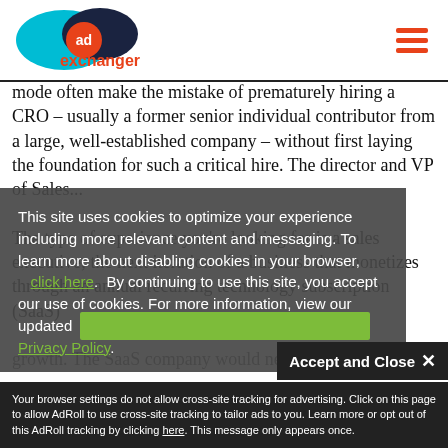[Figure (logo): AdExchanger logo with cyan oval, dark blue oval, orange circle with 'ad' text, and orange 'exchanger' text]
[Figure (other): Hamburger menu icon with three orange horizontal bars]
mode often make the mistake of prematurely hiring a CRO – usually a former senior individual contributor from a large, well-established company – without first laying the foundation for such a critical hire. The director and VP of Sales...
This site uses cookies to optimize your experience including more relevant content and messaging. To learn more about disabling cookies in your browser, click here. By continuing to use this site, you accept our use of cookies. For more information, view our updated Privacy Policy.
The type of experience you're looking for is a sales executive; the next iteration of a business that monetizes through an annual recurring technology subscription (SaaS) ...growth. The SaaS company would need someone
Accept and Close ✕
Your browser settings do not allow cross-site tracking for advertising. Click on this page to allow AdRoll to use cross-site tracking to tailor ads to you. Learn more or opt out of this AdRoll tracking by clicking here. This message only appears once.